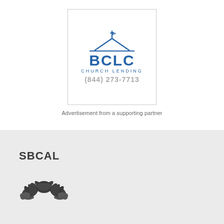[Figure (logo): BCLC Church Lending logo with church building/steeple icon above bold blue BCLC text and 'CHURCH LENDING' subtitle, plus phone number (844) 273-7713 in gray]
Advertisement from a supporting partner
[Figure (logo): SBCAL logo with dark gray handshake icon below bold SBCAL text]